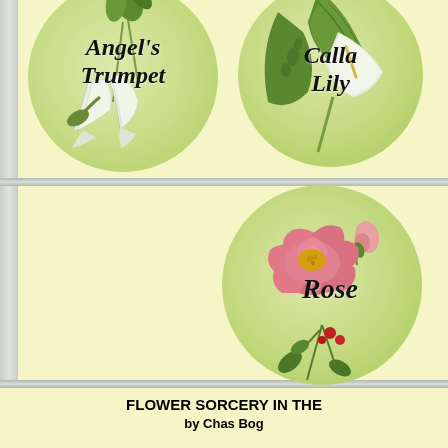[Figure (illustration): Book cover page showing three circular medallions with botanical flower illustrations on a pale yellow background with gray horizontal stripes. Top-left circle: Angel's Trumpet flower with white trumpet-shaped blooms and green leaves, labeled 'Angel's Trumpet' in italic script. Top-right circle: Calla Lily with white lily and large green leaves, labeled 'Calla Lily' in italic script. Bottom-center circle: Rose with pink blooms and green stems, labeled 'Rose' in italic script. A gray vertical strip runs on the left edge.]
FLOWER SORCERY IN THE
by Chas Bog